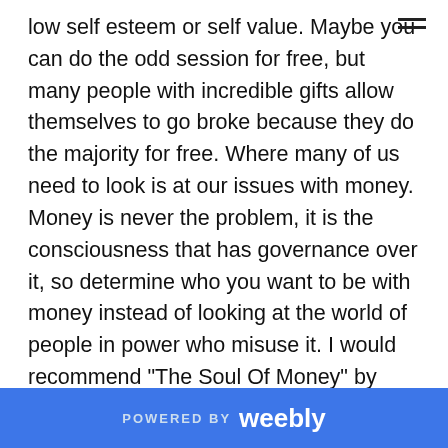low self esteem or self value. Maybe you can do the odd session for free, but many people with incredible gifts allow themselves to go broke because they do the majority for free. Where many of us need to look is at our issues with money. Money is never the problem, it is the consciousness that has governance over it, so determine who you want to be with money instead of looking at the world of people in power who misuse it. I would recommend “The Soul Of Money” by Lynne Twist, the name says it all. There are many different systems that you can implement when charging for your services, so you need to ask something like: “What pricing structure should I implement that will help me
POWERED BY weebly